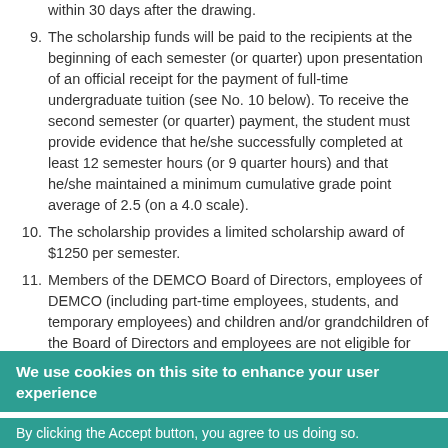within 30 days after the drawing.
9. The scholarship funds will be paid to the recipients at the beginning of each semester (or quarter) upon presentation of an official receipt for the payment of full-time undergraduate tuition (see No. 10 below). To receive the second semester (or quarter) payment, the student must provide evidence that he/she successfully completed at least 12 semester hours (or 9 quarter hours) and that he/she maintained a minimum cumulative grade point average of 2.5 (on a 4.0 scale).
10. The scholarship provides a limited scholarship award of $1250 per semester.
11. Members of the DEMCO Board of Directors, employees of DEMCO (including part-time employees, students, and temporary employees) and children and/or grandchildren of the Board of Directors and employees are not eligible for this scholarship.
We use cookies on this site to enhance your user experience
By clicking the Accept button, you agree to us doing so.